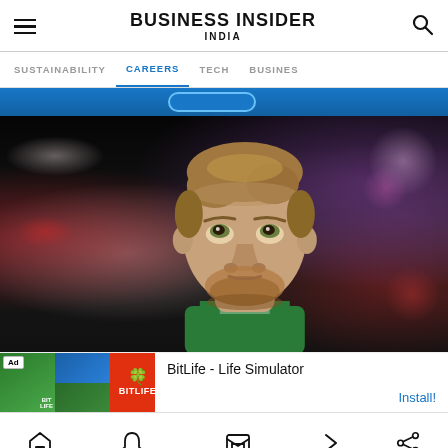BUSINESS INSIDER INDIA
SUSTAINABILITY  CAREERS  TECH  BUSINESS
[Figure (photo): Close-up photo of a young male basketball player wearing a green Celtics jersey, looking upward, with blurred arena lights and red scoreboard in the background]
Ad  BitLife - Life Simulator  Install!
Home  Notifications  Newsletters  Next  Share